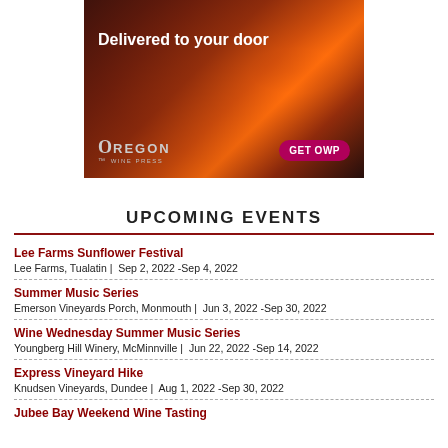[Figure (illustration): Oregon Wine Press advertisement — dark sunset background with text 'Delivered to your door', Oregon Wine Press logo, and a 'GET OWP' button]
UPCOMING EVENTS
Lee Farms Sunflower Festival
Lee Farms, Tualatin | Sep 2, 2022 -Sep 4, 2022
Summer Music Series
Emerson Vineyards Porch, Monmouth | Jun 3, 2022 -Sep 30, 2022
Wine Wednesday Summer Music Series
Youngberg Hill Winery, McMinnville | Jun 22, 2022 -Sep 14, 2022
Express Vineyard Hike
Knudsen Vineyards, Dundee | Aug 1, 2022 -Sep 30, 2022
Jubee Bay Weekend Wine Tasting